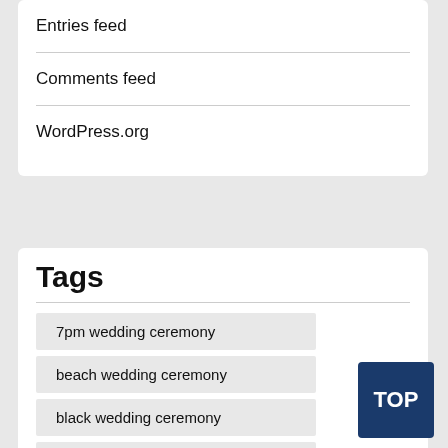Entries feed
Comments feed
WordPress.org
Tags
7pm wedding ceremony
beach wedding ceremony
black wedding ceremony
brief wedding ceremony